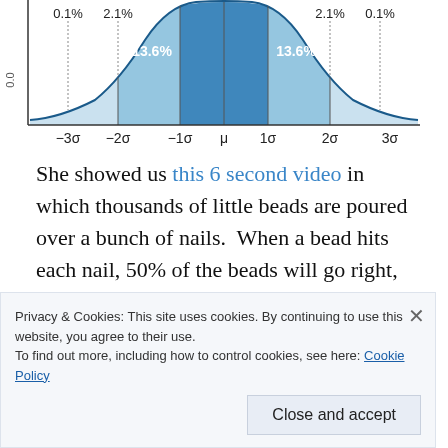[Figure (continuous-plot): Normal distribution bell curve showing standard deviation regions with percentage labels: 0.1% at -3σ and 3σ, 2.1% at -2σ and 2σ, 13.6% at -1σ and 1σ shaded medium blue, and center region shaded dark blue. X-axis labels: -3σ, -2σ, -1σ, μ, 1σ, 2σ, 3σ. Y-axis shows 0.0.]
She showed us this 6 second video in which thousands of little beads are poured over a bunch of nails.  When a bead hits each nail, 50% of the beads will go right, and 50% will go left.  There are many more paths to get to the center of the distribution, and those on the wings have to be really un/lucky and get bounced the same way each time.  And, because there are so many beads and so
Privacy & Cookies: This site uses cookies. By continuing to use this website, you agree to their use.
To find out more, including how to control cookies, see here: Cookie Policy